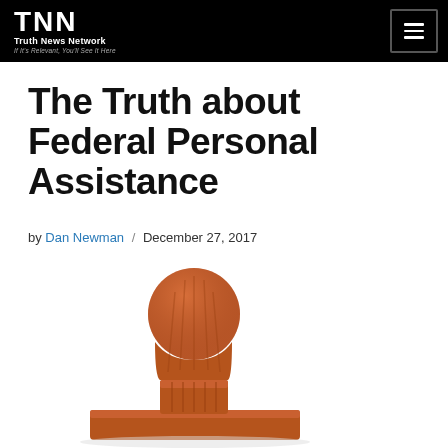Truth News Network — If It's Relevant, You'll See It Here
The Truth about Federal Personal Assistance
by Dan Newman / December 27, 2017
[Figure (photo): A wooden rubber stamp with a rounded handle sitting on its base, photographed on a white background.]